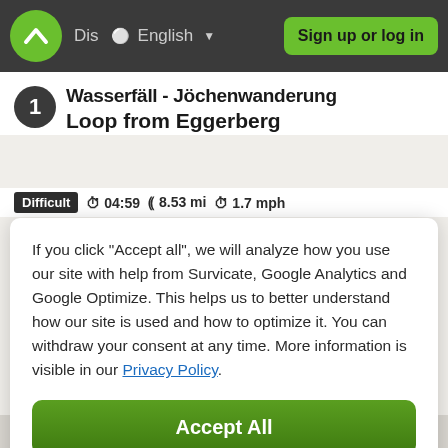Dis  English  Sign up or log in
Wasserfäll - Jöchenwanderung Loop from Eggerberg
Difficult  04:59  8.53 mi  1.7 mph
If you click "Accept all", we will analyze how you use our site with help from Survicate, Google Analytics and Google Optimize. This helps us to better understand how our site is used and how to optimize it. You can withdraw your consent at any time. More information is visible in our Privacy Policy.
Accept All
Decline
Details